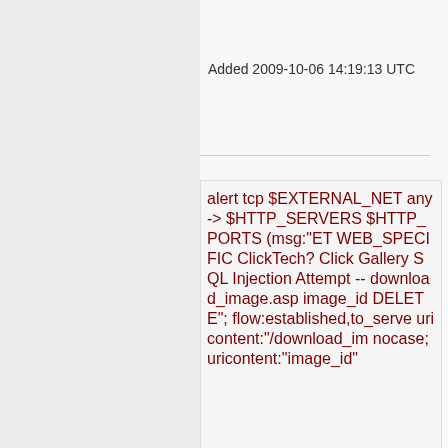Added 2009-10-06 14:19:13 UTC
alert tcp $EXTERNAL_NET any -> $HTTP_SERVERS $HTTP_PORTS (msg:"ET WEB_SPECIFIC ClickTech? Click Gallery SQL Injection Attempt -- download_image.asp image_id DELETE"; flow:established,to_serve uricontent:"/download_im nocase; uricontent:"image_id"